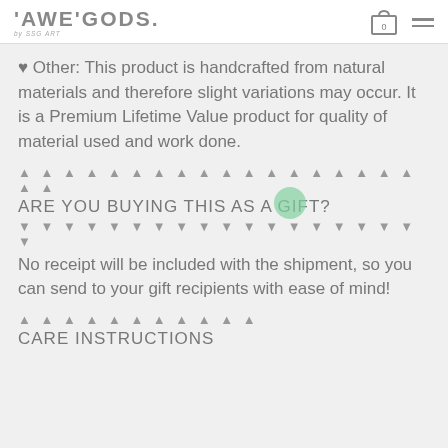'AWE'GODS. by SSG ART
♥ Other: This product is handcrafted from natural materials and therefore slight variations may occur. It is a Premium Lifetime Value product for quality of material used and work done.
▲ ▲ ▲ ▲ ▲ ▲ ▲ ▲ ▲ ▲ ▲ ▲ ▲ ▲ ▲ ▲ ▲ ▲ ▲ ▲
ARE YOU BUYING THIS AS A GIFT?
▼ ▼ ▼ ▼ ▼ ▼ ▼ ▼ ▼ ▼ ▼ ▼ ▼ ▼ ▼ ▼ ▼ ▼ ▼
No receipt will be included with the shipment, so you can send to your gift recipients with ease of mind!
▲ ▲ ▲ ▲ ▲ ▲ ▲ ▲ ▲ ▲ ▲
CARE INSTRUCTIONS